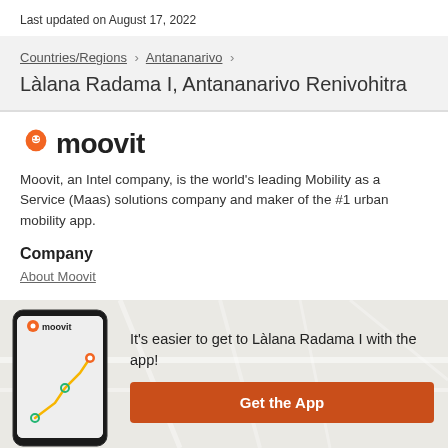Last updated on August 17, 2022
Countries/Regions › Antananarivo ›
Làlana Radama I, Antananarivo Renivohitra
[Figure (logo): Moovit logo with orange location pin icon and bold moovit text]
Moovit, an Intel company, is the world's leading Mobility as a Service (Maas) solutions company and maker of the #1 urban mobility app.
Company
About Moovit
It's easier to get to Làlana Radama I with the app!
Get the App